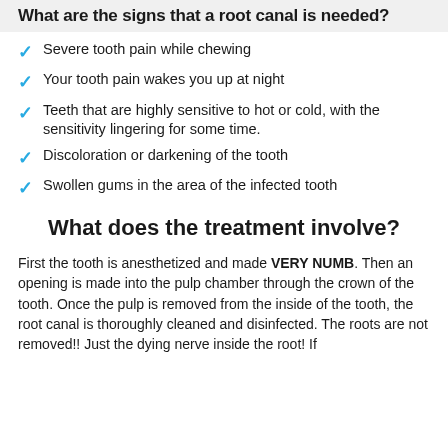What are the signs that a root canal is needed?
Severe tooth pain while chewing
Your tooth pain wakes you up at night
Teeth that are highly sensitive to hot or cold, with the sensitivity lingering for some time.
Discoloration or darkening of the tooth
Swollen gums in the area of the infected tooth
What does the treatment involve?
First the tooth is anesthetized and made VERY NUMB. Then an opening is made into the pulp chamber through the crown of the tooth. Once the pulp is removed from the inside of the tooth, the root canal is thoroughly cleaned and disinfected. The roots are not removed!! Just the dying nerve inside the root! If